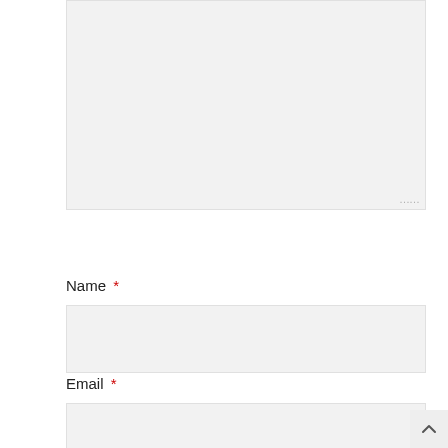[Figure (screenshot): Textarea input field (comment box) with resize handle at bottom-right, light grey background]
Name *
[Figure (screenshot): Name text input field, light grey background, empty]
Email *
[Figure (screenshot): Email text input field, light grey background, empty]
Website
[Figure (screenshot): Website text input field, light grey background, empty]
Save my name, email, and website in this browser for the next time I comment.